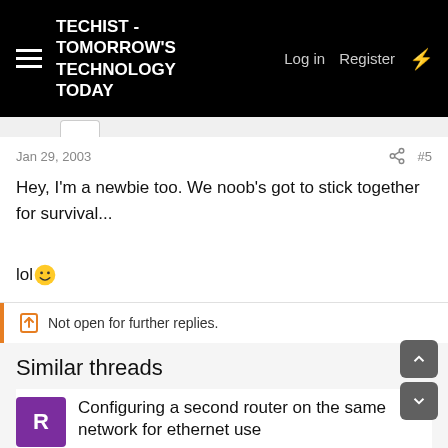TECHIST - TOMORROW'S TECHNOLOGY TODAY
Jan 29, 2003   #5
Hey, I'm a newbie too. We noob's got to stick together for survival...

lol 😊
Not open for further replies.
Similar threads
Configuring a second router on the same network for ethernet use
RxdRvse · Computer Networking and Internet Hardware
Replies: 6 · Sep 17, 2021